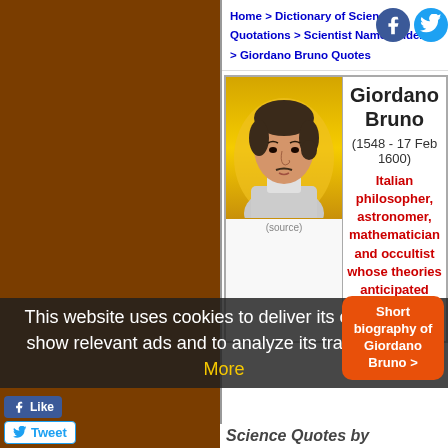Home > Dictionary of Science Quotations > Scientist Names Index B > Giordano Bruno Quotes
[Figure (illustration): Portrait illustration of Giordano Bruno on yellow/gold background]
(source)
Giordano Bruno
(1548 - 17 Feb 1600)
Italian philosopher, astronomer, mathematician and occultist whose theories anticipated modern science.
This website uses cookies to deliver its content, to show relevant ads and to analyze its traffic. Learn More
Short biography of Giordano Bruno >